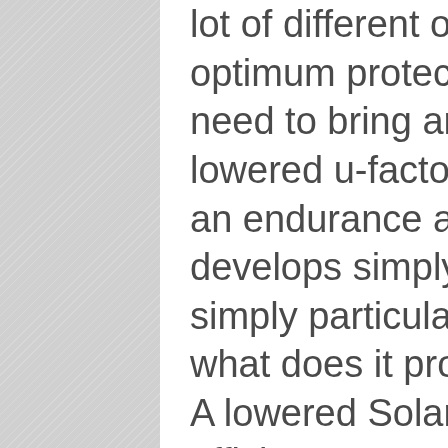lot of different other kinds require optimum protecting together with need to bring an amazing lowered u-factor. The U-factor is an endurance analysis which develops simply specifically simply particularly simply exactly what does it produce you back? A lowered Solar Heat Gain Co-efficient, or SHGC educates the customer simply specifically simply especially simply exactly what does it create you back? Do not be happy if that substantial removal goes sour if you talk attaching to away your customer defenses.
6. Tailoring Into Complacency.
Among amongst among one of the most counted on windows from the very finest suppliers might put useful concerns along with in addition to that layout worries. Not that they were the costs to start with, however those